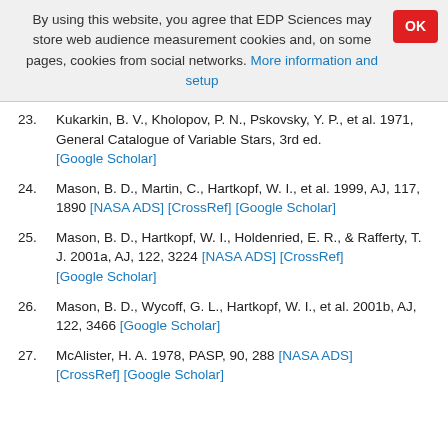By using this website, you agree that EDP Sciences may store web audience measurement cookies and, on some pages, cookies from social networks. More information and setup
23. Kukarkin, B. V., Kholopov, P. N., Pskovsky, Y. P., et al. 1971, General Catalogue of Variable Stars, 3rd ed. [Google Scholar]
24. Mason, B. D., Martin, C., Hartkopf, W. I., et al. 1999, AJ, 117, 1890 [NASA ADS] [CrossRef] [Google Scholar]
25. Mason, B. D., Hartkopf, W. I., Holdenried, E. R., & Rafferty, T. J. 2001a, AJ, 122, 3224 [NASA ADS] [CrossRef] [Google Scholar]
26. Mason, B. D., Wycoff, G. L., Hartkopf, W. I., et al. 2001b, AJ, 122, 3466 [Google Scholar]
27. McAlister, H. A. 1978, PASP, 90, 288 [NASA ADS] [CrossRef] [Google Scholar]